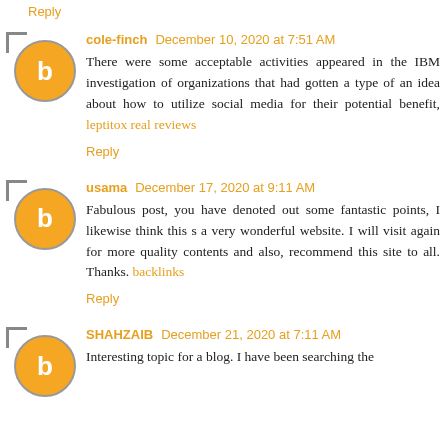Reply
cole-finch December 10, 2020 at 7:51 AM
There were some acceptable activities appeared in the IBM investigation of organizations that had gotten a type of an idea about how to utilize social media for their potential benefit, leptitox real reviews
Reply
usama December 17, 2020 at 9:11 AM
Fabulous post, you have denoted out some fantastic points, I likewise think this s a very wonderful website. I will visit again for more quality contents and also, recommend this site to all. Thanks. backlinks
Reply
SHAHZAIB December 21, 2020 at 7:11 AM
Interesting topic for a blog. I have been searching the